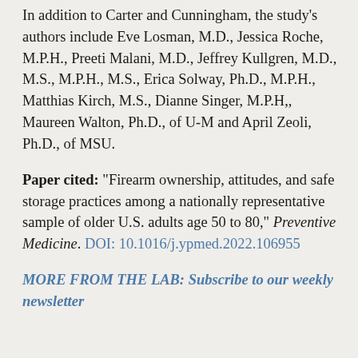In addition to Carter and Cunningham, the study's authors include Eve Losman, M.D., Jessica Roche, M.P.H., Preeti Malani, M.D., Jeffrey Kullgren, M.D., M.S., M.P.H., M.S., Erica Solway, Ph.D., M.P.H., Matthias Kirch, M.S., Dianne Singer, M.P.H,, Maureen Walton, Ph.D., of U-M and April Zeoli, Ph.D., of MSU.
Paper cited: “Firearm ownership, attitudes, and safe storage practices among a nationally representative sample of older U.S. adults age 50 to 80,” Preventive Medicine. DOI: 10.1016/j.ypmed.2022.106955
MORE FROM THE LAB: Subscribe to our weekly newsletter